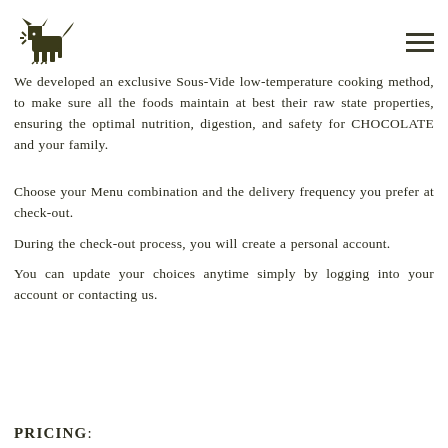[Figure (logo): Dark olive/brown stylized wolf or dog logo mark]
We developed an exclusive Sous-Vide low-temperature cooking method, to make sure all the foods maintain at best their raw state properties, ensuring the optimal nutrition, digestion, and safety for CHOCOLATE and your family.
Choose your Menu combination and the delivery frequency you prefer at check-out.
During the check-out process, you will create a personal account.
You can update your choices anytime simply by logging into your account or contacting us.
PRICING: